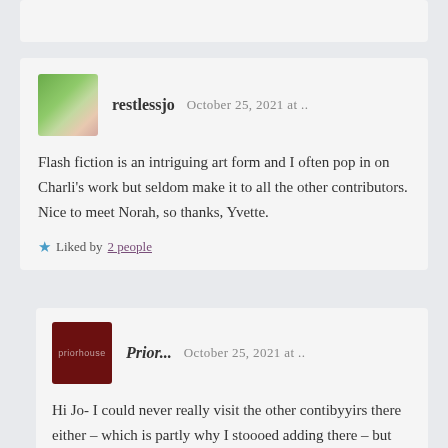restlessjo   October 25, 2021 at ..
Flash fiction is an intriguing art form and I often pop in on Charli's work but seldom make it to all the other contributors. Nice to meet Norah, so thanks, Yvette.
Liked by 2 people
Prior...   October 25, 2021 at ..
Hi Jo- I could never really visit the other contibyyirs there either – which is partly why I stoooed adding there – but they have a nice group and Sherri Matthews was a regular